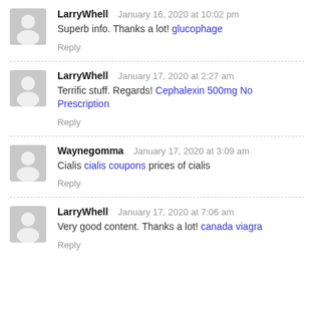LarryWhell  January 16, 2020 at 10:02 pm
Superb info. Thanks a lot! glucophage
Reply
LarryWhell  January 17, 2020 at 2:27 am
Terrific stuff. Regards! Cephalexin 500mg No Prescription
Reply
Waynegomma  January 17, 2020 at 3:09 am
Cialis cialis coupons prices of cialis
Reply
LarryWhell  January 17, 2020 at 7:06 am
Very good content. Thanks a lot! canada viagra
Reply